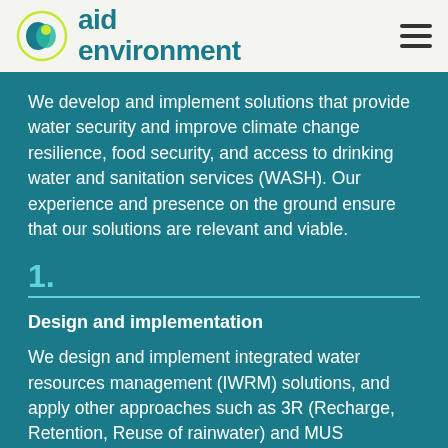aid environment
We develop and implement solutions that provide water security and improve climate change resilience, food security, and access to drinking water and sanitation services (WASH). Our experience and presence on the ground ensure that our solutions are relevant and viable.
1.
Design and implementation
We design and implement integrated water resources management (IWRM) solutions, and apply other approaches such as 3R (Recharge, Retention, Reuse of rainwater) and MUS